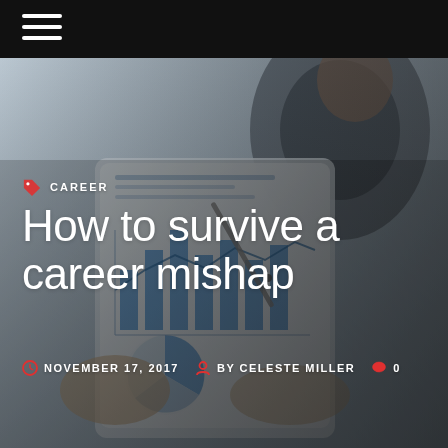[Figure (photo): Background photo of a person in a suit holding a tablet/iPad displaying financial charts including bar charts and a pie chart, with hands visible and blurred background]
CAREER
How to survive a career mishap
NOVEMBER 17, 2017  BY CELESTE MILLER  0